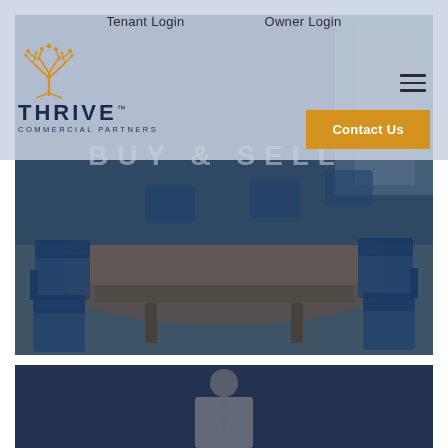Tenant Login    Owner Login
[Figure (logo): Thrive Commercial Partners logo with golden tree icon and navy blue text]
[Figure (other): Hamburger menu icon (three horizontal lines)]
Contact Us
BUY & SELL
[Figure (photo): Conference room with wooden table and blue chairs, darkened with blue overlay]
[Figure (photo): Person in light colored outfit standing, darkened with navy overlay]